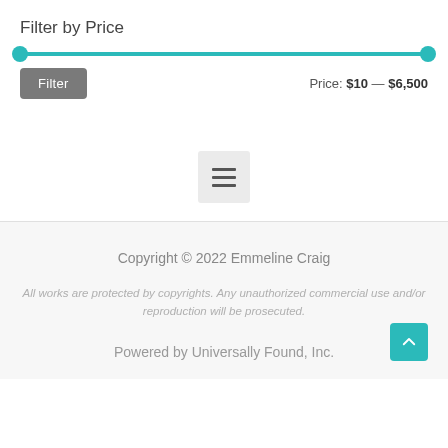Filter by Price
[Figure (other): Price range slider with teal track and two circular handles at each end, showing range from $10 to $6,500]
Price: $10 — $6,500
[Figure (other): Hamburger menu icon (three horizontal lines) inside a light gray square button]
Copyright © 2022 Emmeline Craig
All works are protected by copyrights. Any unauthorized commercial use and/or reproduction will be prosecuted.
Powered by Universally Found, Inc.